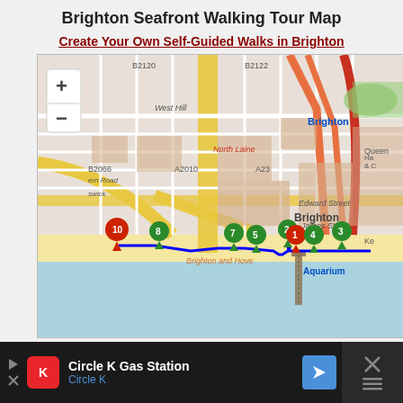Brighton Seafront Walking Tour Map
Create Your Own Self-Guided Walks in Brighton
[Figure (map): Interactive street map of Brighton seafront showing a walking tour route marked in blue. Numbered green and red markers (1-10) indicate tour stops along the seafront near Brighton Pier and Aquarium. Map includes road labels: B2120, B2122, B2066, A2010, A23; area labels: West Hill, Brighton, North Laine, Queen, Edward Street, James Street, Brighton and Hove, Aquarium. A blue walking route line connects the markers along the seafront. Map controls (+ and -) visible top left.]
Circle K Gas Station
Circle K